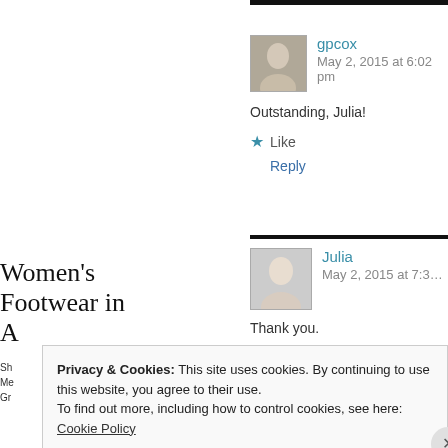gpcox
May 2, 2015 at 6:02 pm
Outstanding, Julia!
Like
Reply
Julia
May 2, 2015 at 7:3…
Thank you.
Women's Footwear in A
Sh… Me… Gr…
Privacy & Cookies: This site uses cookies. By continuing to use this website, you agree to their use.
To find out more, including how to control cookies, see here:
Cookie Policy
Close and accept